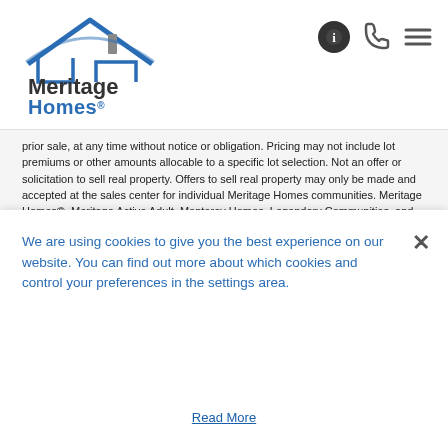[Figure (logo): Meritage Homes logo with house icon in blue and gray, brand name in dark and blue text]
prior sale, at any time without notice or obligation. Pricing may not include lot premiums or other amounts allocable to a specific lot selection. Not an offer or solicitation to sell real property. Offers to sell real property may only be made and accepted at the sales center for individual Meritage Homes communities. Meritage Homes®, Meritage Active Adult, Monterey Homes, Legendary Communities, and Phillips Builders are all trademarks of Meritage Homes Corporation.
The estimated monthly payment is provided for purposes of illustration only and is not a commitment to lend, nor a representation or guaranty that such payment amount will be applicable to any buyer and/or transaction. Estimated monthly payment assumes FHA financing using the purchase price provided
We are using cookies to give you the best experience on our website. You can find out more about which cookies and control your preferences in the settings area.
Read More